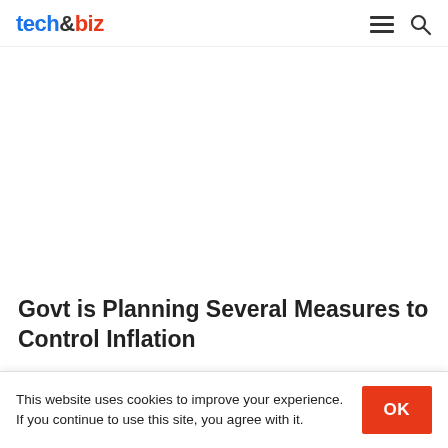tech&biz
Govt is Planning Several Measures to Control Inflation
This website uses cookies to improve your experience. If you continue to use this site, you agree with it.